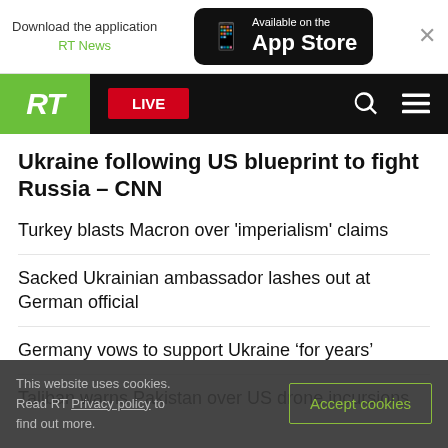Download the application RT News | Available on the App Store
RT LIVE
Ukraine following US blueprint to fight Russia – CNN
Turkey blasts Macron over 'imperialism' claims
Sacked Ukrainian ambassador lashes out at German official
Germany vows to support Ukraine 'for years'
Taliban warns Pakistan over US drone incursions
This website uses cookies. Read RT Privacy policy to find out more. Accept cookies